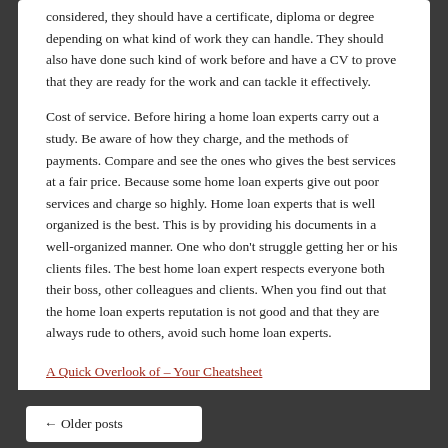considered, they should have a certificate, diploma or degree depending on what kind of work they can handle. They should also have done such kind of work before and have a CV to prove that they are ready for the work and can tackle it effectively.
Cost of service. Before hiring a home loan experts carry out a study. Be aware of how they charge, and the methods of payments. Compare and see the ones who gives the best services at a fair price. Because some home loan experts give out poor services and charge so highly. Home loan experts that is well organized is the best. This is by providing his documents in a well-organized manner. One who don't struggle getting her or his clients files. The best home loan expert respects everyone both their boss, other colleagues and clients. When you find out that the home loan experts reputation is not good and that they are always rude to others, avoid such home loan experts.
A Quick Overlook of – Your Cheatsheet
Discovering The Truth About
Filed Under: Travel